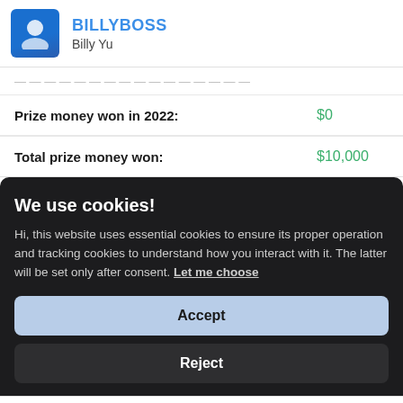BILLYBOSS / Billy Yu
Prize money won in 2022: $0
Total prize money won: $10,000
We use cookies!
Hi, this website uses essential cookies to ensure its proper operation and tracking cookies to understand how you interact with it. The latter will be set only after consent. Let me choose
Accept
Reject
LEAGUE